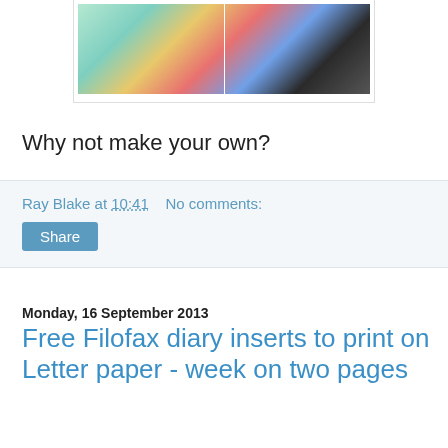[Figure (photo): Photo showing colorful paper/inserts being held in hand on the left side and a stack of colored papers on the right side]
Why not make your own?
Ray Blake at 10:41   No comments:
Share
Monday, 16 September 2013
Free Filofax diary inserts to print on Letter paper - week on two pages
As promised, here are some more sets for you; this time they are all week on two pages layouts.
These diary sets have been available for some time now for people to download and print on A4 paper. Steve and I have